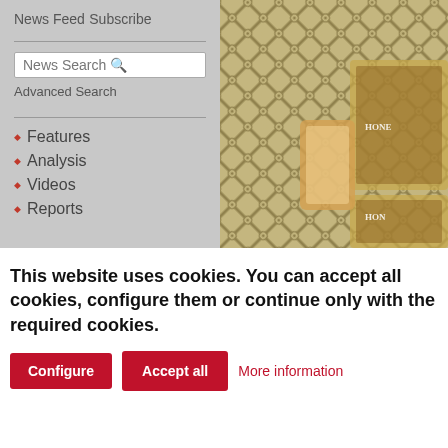News Feed
Subscribe
[Figure (screenshot): Search box with 'News Search' placeholder text and a magnifying glass icon]
Advanced Search
Features
Analysis
Videos
Reports
[Figure (photo): Close-up photograph of an ornate golden lattice/trellis decorative frame with floral medallions and partial view of framed artwork or label inside]
This website uses cookies. You can accept all cookies, configure them or continue only with the required cookies.
Configure
Accept all
More information